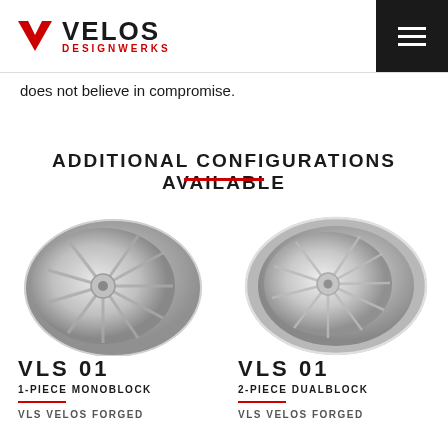VELOS DESIGNWERKS
does not believe in compromise.
ADDITIONAL CONFIGURATIONS AVAILABLE
[Figure (photo): Silver forged wheel VLS 01 1-piece monoblock, angled view showing spokes]
[Figure (photo): Silver forged wheel VLS 01 2-piece dualblock, angled view showing spokes]
VLS 01
1-PIECE MONOBLOCK
VLS VELOS FORGED
VLS 01
2-PIECE DUALBLOCK
VLS VELOS FORGED